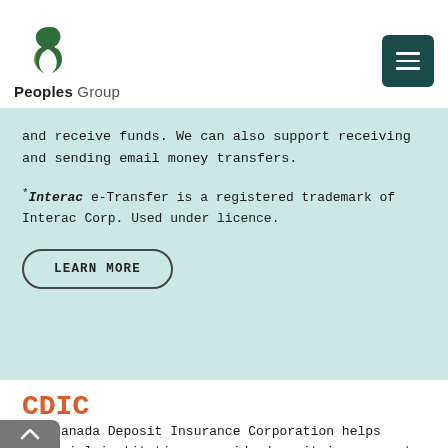Peoples Group
and receive funds. We can also support receiving and sending email money transfers.
* Interac e-Transfer is a registered trademark of Interac Corp. Used under licence.
LEARN MORE
CDIC
The Canada Deposit Insurance Corporation helps financial institutions provide deposit insurance to depositors at Canadian banks. Find out how we can help to add CDIC coverage to your General Purpose Reloadable prepaid card program.
LEARN MORE